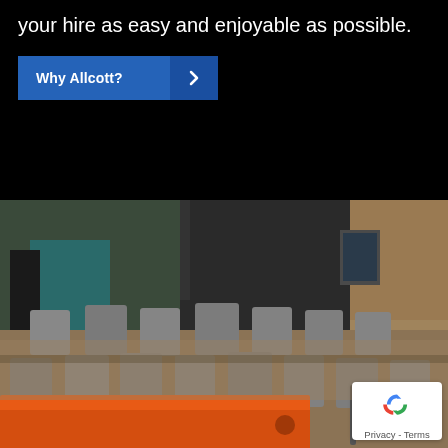your hire as easy and enjoyable as possible.
[Figure (screenshot): Blue 'Why Allcott?' button with right arrow]
[Figure (photo): Close-up photo of excavator tracks and bucket in a dirt trench, with a worker visible in the background cab, and a reCAPTCHA privacy badge in bottom right corner]